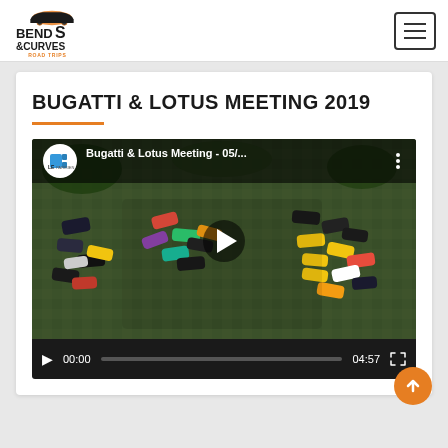Bends & Curves Road Trips – navigation header with logo and hamburger menu
BUGATTI & LOTUS MEETING 2019
[Figure (screenshot): Embedded YouTube video player showing aerial drone footage of sports cars arranged to form letters/numbers on a grass field. Video title: 'Bugatti & Lotus Meeting - 05/...' with channel logo. Controls show 00:00 / 04:57. Play button visible in center of thumbnail.]